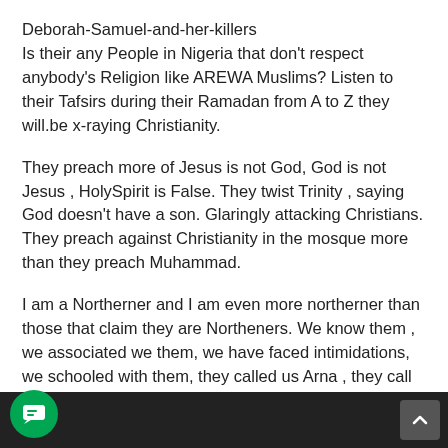Deborah-Samuel-and-her-killers
Is their any People in Nigeria that don't respect anybody's Religion like AREWA Muslims? Listen to their Tafsirs during their Ramadan from A to Z they will.be x-raying Christianity.
They preach more of Jesus is not God, God is not Jesus , HolySpirit is False. They twist Trinity , saying God doesn't have a son. Glaringly attacking Christians. They preach against Christianity in the mosque more than they preach Muhammad.
I am a Northerner and I am even more northerner than those that claim they are Northeners. We know them , we associated we them, we have faced intimidations, we schooled with them, they called us Arna , they call us Kafiri , they even sang for us when going to school , "YAN MAKARANTAN BOKOKO BA KARATU BA SALLAH , SAI AWAN ZAGIN MALLAM DABAYA, DABAYA AKE SALLAH". metimes they stone us as the Almajiris sing that son What do we do we smile and move on to our schools.